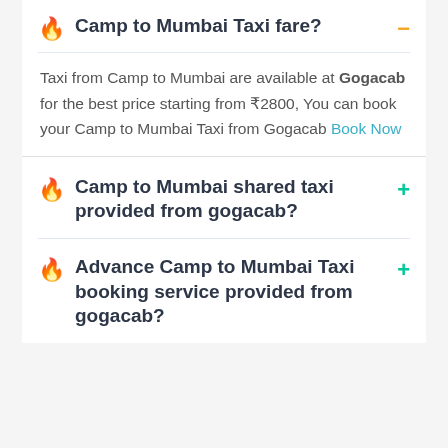Camp to Mumbai Taxi fare?
Taxi from Camp to Mumbai are available at Gogacab for the best price starting from ₹2800, You can book your Camp to Mumbai Taxi from Gogacab Book Now
Camp to Mumbai shared taxi provided from gogacab?
Advance Camp to Mumbai Taxi booking service provided from gogacab?